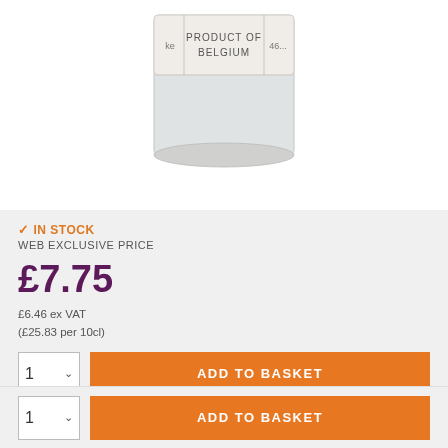[Figure (photo): Bottom portion of a glass cosmetic/perfume bottle with a beige/cream label reading 'PRODUCT OF BELGIUM']
✓ IN STOCK
WEB EXCLUSIVE PRICE
£7.75
£6.46 ex VAT
(£25.83 per 10cl)
ADD TO BASKET
ADD TO BASKET